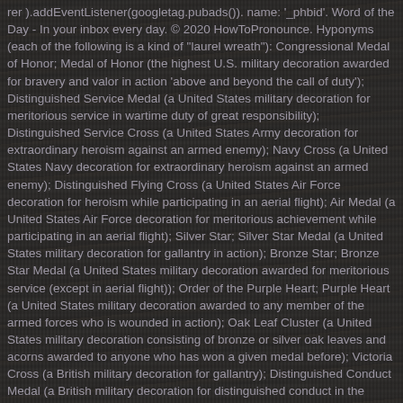rer ).addEventListener(googletag.pubads()). name: '_phbid'. Word of the Day - In your inbox every day. © 2020 HowToPronounce. Hyponyms (each of the following is a kind of "laurel wreath"): Congressional Medal of Honor; Medal of Honor (the highest U.S. military decoration awarded for bravery and valor in action 'above and beyond the call of duty'); Distinguished Service Medal (a United States military decoration for meritorious service in wartime duty of great responsibility); Distinguished Service Cross (a United States Army decoration for extraordinary heroism against an armed enemy); Navy Cross (a United States Navy decoration for extraordinary heroism against an armed enemy); Distinguished Flying Cross (a United States Air Force decoration for heroism while participating in an aerial flight); Air Medal (a United States Air Force decoration for meritorious achievement while participating in an aerial flight); Silver Star; Silver Star Medal (a United States military decoration for gallantry in action); Bronze Star; Bronze Star Medal (a United States military decoration awarded for meritorious service (except in aerial flight)); Order of the Purple Heart; Purple Heart (a United States military decoration awarded to any member of the armed forces who is wounded in action); Oak Leaf Cluster (a United States military decoration consisting of bronze or silver oak leaves and acorns awarded to anyone who has won a given medal before); Victoria Cross (a British military decoration for gallantry); Distinguished Conduct Medal (a British military decoration for distinguished conduct in the field); Distinguished Service Order (a British military decoration for special service in action); Croix de Guerre (a French military decoration for gallantry);